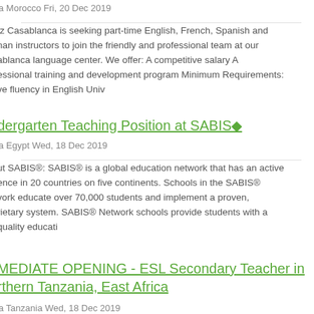a Morocco Fri, 20 Dec 2019
tz Casablanca is seeking part-time English, French, Spanish and nan instructors to join the friendly and professional team at our ablanca language center. We offer: A competitive salary A essional training and development program Minimum Requirements: ve fluency in English Univ
dergarten Teaching Position at SABIS◆
a Egypt Wed, 18 Dec 2019
ut SABIS®: SABIS® is a global education network that has an active ence in 20 countries on five continents. Schools in the SABIS® vork educate over 70,000 students and implement a proven, rietary system. SABIS® Network schools provide students with a quality educati
MEDIATE OPENING - ESL Secondary Teacher in rthern Tanzania, East Africa
a Tanzania Wed, 18 Dec 2019